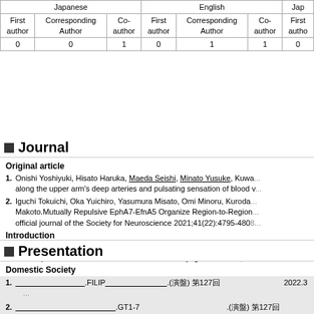| Japanese First author | Japanese Corresponding Author | Japanese Co-author | English First author | English Corresponding Author | English Co-author | Jap First author |
| --- | --- | --- | --- | --- | --- | --- |
| 0 | 0 | 1 | 0 | 1 | 1 | 0 |
Journal
Original article
1. Onishi Yoshiyuki, Hisato Haruka, Maeda Seishi, Minato Yusuke, Kuwa... along the upper arm's deep arteries and pulsating sensation of blood v
2. Iguchi Tokuichi, Oka Yuichiro, Yasumura Misato, Omi Minoru, Kuroda... Makoto.Mutually Repulsive EphA7-EfnA5 Organize Region-to-Region... official journal of the Society for Neuroscience 2021;41(22):4795-4808
Introduction
1. Hideshi Yagi, Yoshiyuki Onishi, Saeko Morishita, Seishi Maeda, Yusuk... the deep vessels in the extremities.Acta Medica Hyogoensia 2022;51-
Presentation
Domestic Society
1. [Japanese text].FILIP[Japanese text].(演) 第127回[Japanese text] 2022.3 [...]
2. [Japanese text].GT1-7 [Japanese text].(演) 第127回[Japanese text]
3. [Japanese text].[Japanese text].(演) 第127回[Japanese text] 2
4. [Japanese text].GnRH[Japanese text]TNF-α[Japanese text].(演) 第64回[Japanese text]
5. Minato Yusuke, Nakano-Doi Akiko, Kuwahara-Otani Sachi, Maeda Se... the expansion of ischemia-induced multipotent stem cells.(演) 第44回[Japanese text]